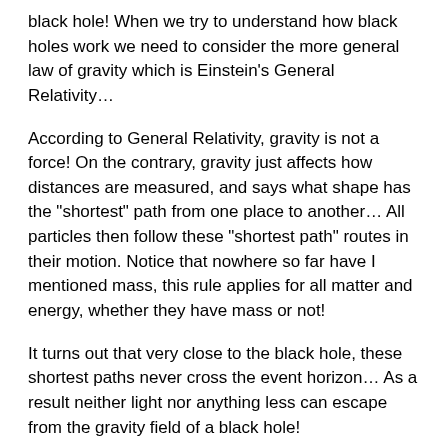black hole! When we try to understand how black holes work we need to consider the more general law of gravity which is Einstein's General Relativity…
According to General Relativity, gravity is not a force! On the contrary, gravity just affects how distances are measured, and says what shape has the "shortest" path from one place to another… All particles then follow these "shortest path" routes in their motion. Notice that nowhere so far have I mentioned mass, this rule applies for all matter and energy, whether they have mass or not!
It turns out that very close to the black hole, these shortest paths never cross the event horizon… As a result neither light nor anything less can escape from the gravity field of a black hole!
This page was last reviewed on February 1, 2019.